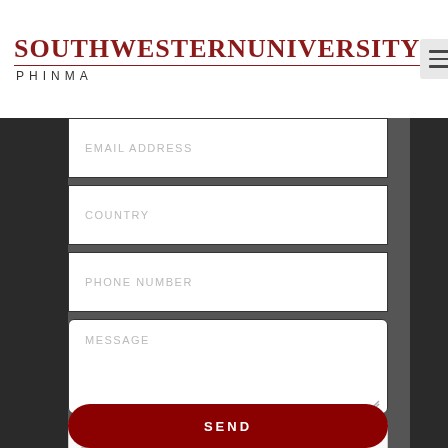SOUTHWESTERN UNIVERSITY PHINMA
[Figure (screenshot): Contact form with fields: EMAIL ADDRESS, COUNTRY, PHONE NUMBER, MESSAGE textarea, reCAPTCHA widget, and SEND button]
EMAIL ADDRESS
COUNTRY
PHONE NUMBER
MESSAGE
I'm not a robot
reCAPTCHA
Privacy - Terms
SEND